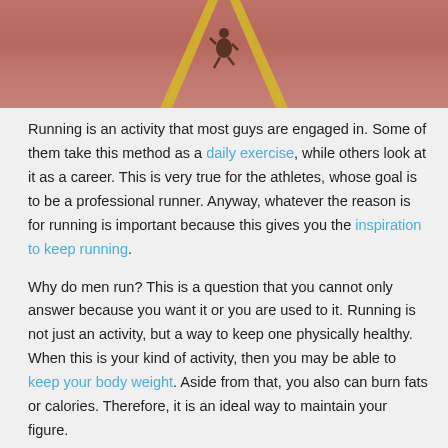[Figure (photo): Aerial view of a runner on an athletics track with yellow lane lines, viewed from above showing the person running on a reddish-brown track surface.]
Running is an activity that most guys are engaged in. Some of them take this method as a daily exercise, while others look at it as a career. This is very true for the athletes, whose goal is to be a professional runner. Anyway, whatever the reason is for running is important because this gives you the inspiration to keep running.
Why do men run? This is a question that you cannot only answer because you want it or you are used to it. Running is not just an activity, but a way to keep one physically healthy. When this is your kind of activity, then you may be able to keep your body weight. Aside from that, you also can burn fats or calories. Therefore, it is an ideal way to maintain your figure.